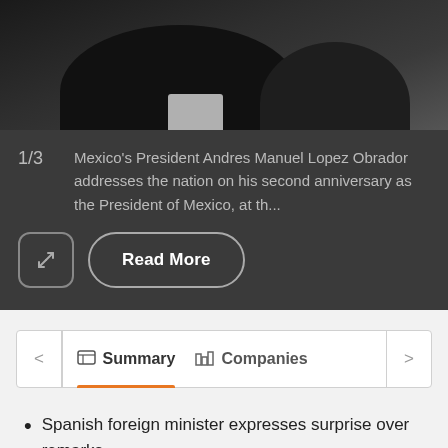[Figure (photo): Photo of Mexico's President Andres Manuel Lopez Obrador and another person in dark suits]
1/3  Mexico's President Andres Manuel Lopez Obrador addresses the nation on his second anniversary as the President of Mexico, at th...
Read More
| Summary | Companies |
| --- | --- |
Spanish foreign minister expresses surprise over remarks
Lopez Obrador's comment comes amid U.S. concerns over power market plan